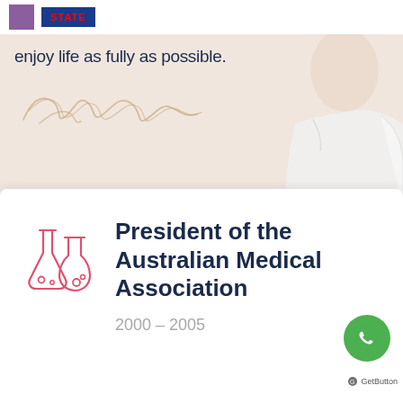[Figure (logo): Purple square logo and blue rectangular logo in top bar]
enjoy life as fully as possible.
[Figure (illustration): Handwritten signature in cursive script over beige/cream background with partial doctor figure in white coat on right side]
President of the Australian Medical Association
2000 - 2005
[Figure (illustration): WhatsApp green circular button with chat icon, labeled GetButton]